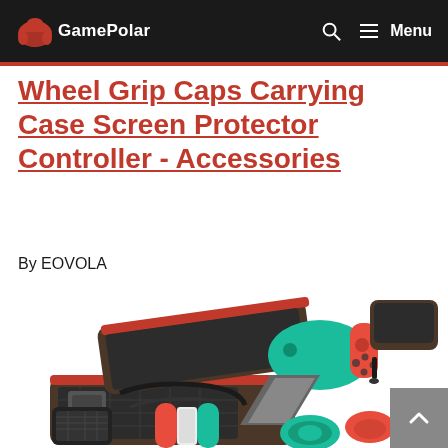GamePolar — Menu
Wheel Grip Caps Carrying Case Screen Protector Controller - Accessories
By EOVOLA
[Figure (photo): Product photo showing a Nintendo Switch accessories bundle including a red/black carrying case open with adapter and straps inside, cyan/red Joy-Con controllers in a grip, a tablet stand, a black protective case, and various other accessories including steering wheels and ear-style controller grips.]